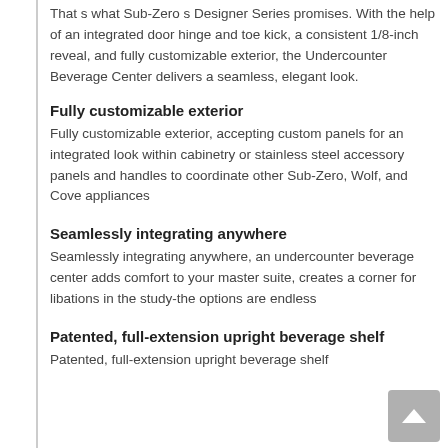That s what Sub-Zero s Designer Series promises. With the help of an integrated door hinge and toe kick, a consistent 1/8-inch reveal, and fully customizable exterior, the Undercounter Beverage Center delivers a seamless, elegant look.
Fully customizable exterior
Fully customizable exterior, accepting custom panels for an integrated look within cabinetry or stainless steel accessory panels and handles to coordinate other Sub-Zero, Wolf, and Cove appliances
Seamlessly integrating anywhere
Seamlessly integrating anywhere, an undercounter beverage center adds comfort to your master suite, creates a corner for libations in the study-the options are endless
Patented, full-extension upright beverage shelf
Patented, full-extension upright beverage shelf